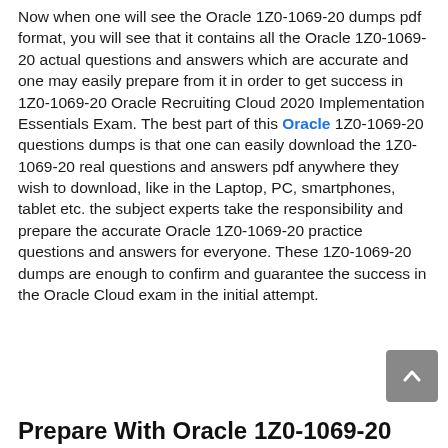Now when one will see the Oracle 1Z0-1069-20 dumps pdf format, you will see that it contains all the Oracle 1Z0-1069-20 actual questions and answers which are accurate and one may easily prepare from it in order to get success in 1Z0-1069-20 Oracle Recruiting Cloud 2020 Implementation Essentials Exam. The best part of this Oracle 1Z0-1069-20 questions dumps is that one can easily download the 1Z0-1069-20 real questions and answers pdf anywhere they wish to download, like in the Laptop, PC, smartphones, tablet etc. the subject experts take the responsibility and prepare the accurate Oracle 1Z0-1069-20 practice questions and answers for everyone. These 1Z0-1069-20 dumps are enough to confirm and guarantee the success in the Oracle Cloud exam in the initial attempt.
Prepare With Oracle 1Z0-1069-20